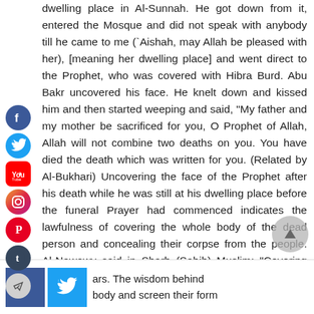dwelling place in Al-Sunnah. He got down from it, entered the Mosque and did not speak with anybody till he came to me (`Aishah, may Allah be pleased with her), [meaning her dwelling place] and went direct to the Prophet, who was covered with Hibra Burd. Abu Bakr uncovered his face. He knelt down and kissed him and then started weeping and said, "My father and my mother be sacrificed for you, O Prophet of Allah, Allah will not combine two deaths on you. You have died the death which was written for you. (Related by Al-Bukhari) Uncovering the face of the Prophet after his death while he was still at his dwelling place before the funeral Prayer had commenced indicates the lawfulness of covering the whole body of the dead person and concealing their corpse from the people. Al-Nawawy said in Sharh (Sahih) Muslim: "Covering the dead person is agreed
ars. The wisdom behind body and screen their form